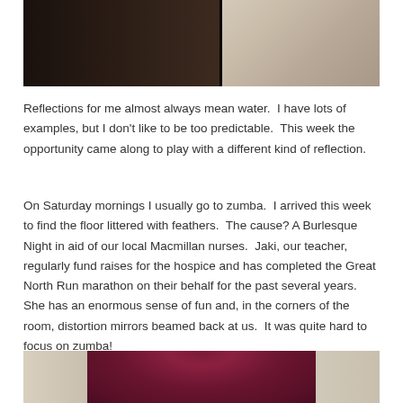[Figure (photo): Dark moody photograph showing a dark left portion with a vertical divider and a lighter textured right portion, appearing to be a close-up of fur or fabric.]
Reflections for me almost always mean water.  I have lots of examples, but I don't like to be too predictable.  This week the opportunity came along to play with a different kind of reflection.
On Saturday mornings I usually go to zumba.  I arrived this week to find the floor littered with feathers.  The cause? A Burlesque Night in aid of our local Macmillan nurses.  Jaki, our teacher, regularly fund raises for the hospice and has completed the Great North Run marathon on their behalf for the past several years.  She has an enormous sense of fun and, in the corners of the room, distortion mirrors beamed back at us.  It was quite hard to focus on zumba!
[Figure (photo): Bottom portion of a photograph showing a dark crimson/burgundy feather boa against a light background with vertical panels.]